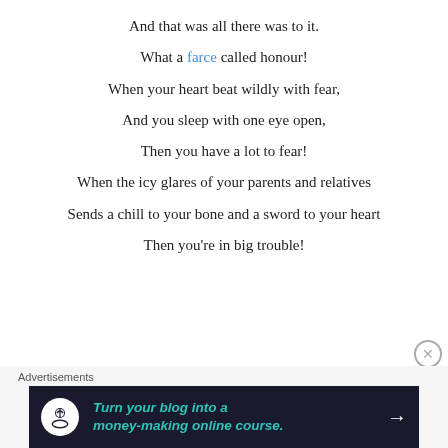And that was all there was to it.
What a farce called honour!
When your heart beat wildly with fear,
And you sleep with one eye open,
Then you have a lot to fear!
When the icy glares of your parents and relatives
Sends a chill to your bone and a sword to your heart
Then you're in big trouble!
Advertisements — Turn your blog into a money-making online course.